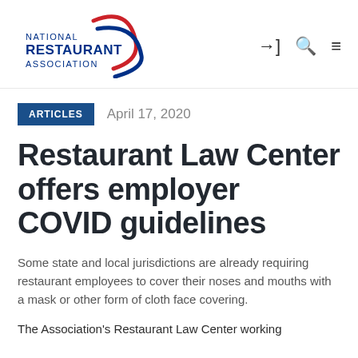[Figure (logo): National Restaurant Association logo with red and blue swoosh graphic]
ARTICLES   April 17, 2020
Restaurant Law Center offers employer COVID guidelines
Some state and local jurisdictions are already requiring restaurant employees to cover their noses and mouths with a mask or other form of cloth face covering.
The Association's Restaurant Law Center working